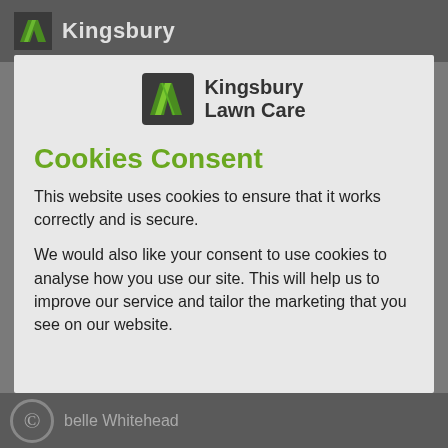Kingsbury
[Figure (logo): Kingsbury Lawn Care logo with green diagonal parallelogram icon and company name in dark text]
Cookies Consent
This website uses cookies to ensure that it works correctly and is secure.
We would also like your consent to use cookies to analyse how you use our site. This will help us to improve our service and tailor the marketing that you see on our website.
© belle Whitehead